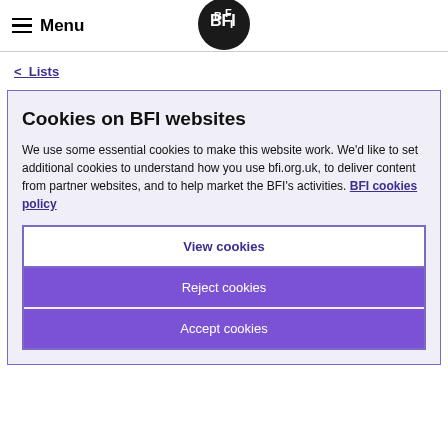Menu | BFI
< Lists
Cookies on BFI websites
We use some essential cookies to make this website work. We'd like to set additional cookies to understand how you use bfi.org.uk, to deliver content from partner websites, and to help market the BFI's activities. BFI cookies policy
View cookies
Reject cookies
Accept cookies